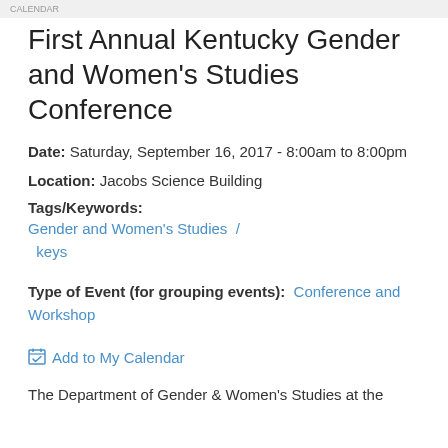CALENDAR
First Annual Kentucky Gender and Women's Studies Conference
Date: Saturday, September 16, 2017 - 8:00am to 8:00pm
Location: Jacobs Science Building
Tags/Keywords:
Gender and Women's Studies  /   keys
Type of Event (for grouping events):  Conference and Workshop
Add to My Calendar
The Department of Gender & Women's Studies at the